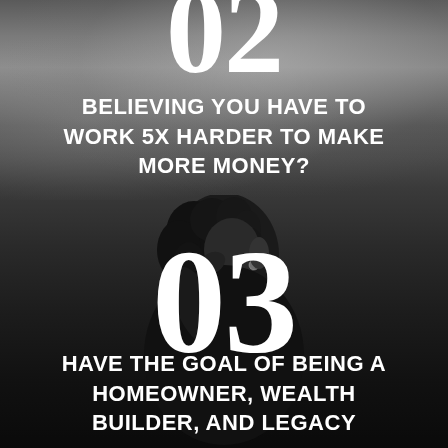02
BELIEVING YOU HAVE TO WORK 5X HARDER TO MAKE MORE MONEY?
[Figure (photo): Black and white photo of a woman with curly hair, head turned to the side, hand raised to her head, dark clothing, against a cloudy sky background]
03
HAVE THE GOAL OF BEING A HOMEOWNER, WEALTH BUILDER, AND LEGACY